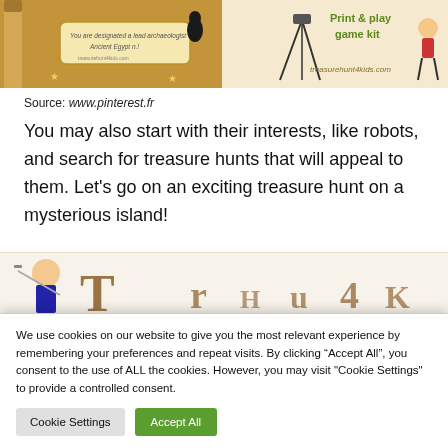[Figure (illustration): Two-panel banner image: left panel shows an Egyptian-themed treasure hunt card with hieroglyphic decorations and text 'You are designated a lead archaeologist of Ancient Egypt n.!'; right panel shows 'Print & play game kit' text with a cartoon character and 'treasurehunt4kids.com' website.]
Source: www.pinterest.fr
You may also start with their interests, like robots, and search for treasure hunts that will appeal to them. Let's go on an exciting treasure hunt on a mysterious island!
[Figure (illustration): Partial view of a treasure hunt for kids banner with a pirate character on the left and stylized brown text beginning with 'T' on a light background.]
We use cookies on our website to give you the most relevant experience by remembering your preferences and repeat visits. By clicking “Accept All”, you consent to the use of ALL the cookies. However, you may visit "Cookie Settings" to provide a controlled consent.